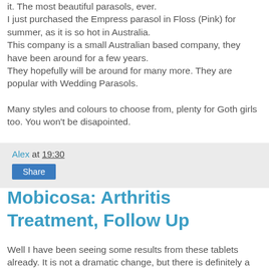...found this wonderful web site last night. Linked you will love it. The most beautiful parasols, ever.
I just purchased the Empress parasol in Floss (Pink) for summer, as it is so hot in Australia.
This company is a small Australian based company, they have been around for a few years.
They hopefully will be around for many more. They are popular with Wedding Parasols.

Many styles and colours to choose from, plenty for Goth girls too. You won't be disapointed.
Alex at 19:30
Share
Mobicosa: Arthritis Treatment, Follow Up
Well I have been seeing some results from these tablets already. It is not a dramatic change, but there is definitely a